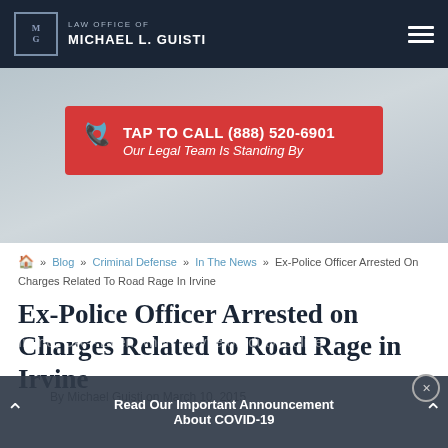Law Office of Michael L. Guisti
[Figure (infographic): Red call-to-action button: TAP TO CALL (888) 520-6901, Our Legal Team Is Standing By]
Home » Blog » Criminal Defense » In The News » Ex-Police Officer Arrested On Charges Related To Road Rage In Irvine
Ex-Police Officer Arrested on Charges Related to Road Rage in Irvine
By Michael Guisti on March 10, 2015
Irvine, CA – Even when they're off-duty, police officers and sheriff's deputies still retain their police
Read Our Important Announcement About COVID-19